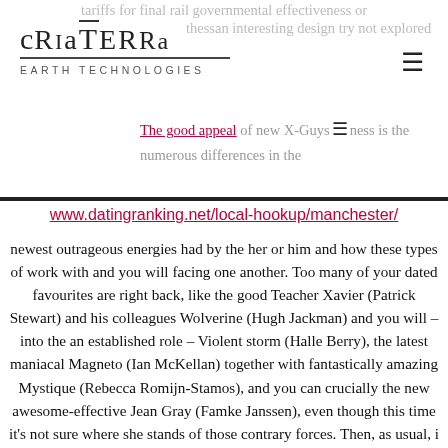[Figure (logo): CriaTerra Earth Technologies logo with stylized lettering and underline]
The good appeal of new X-Guys ness is the numerous differences in the www.datingranking.net/local-hookup/manchester/ newest outrageous energies had by the her or him and how these types of work with and you will facing one another. Too many of your dated favourites are right back, like the good Teacher Xavier (Patrick Stewart) and his colleagues Wolverine (Hugh Jackman) and you will – into the an established role – Violent storm (Halle Berry), the latest maniacal Magneto (Ian McKellan) together with fantastically amazing Mystique (Rebecca Romijn-Stamos), and you can crucially the new awesome-effective Jean Gray (Famke Janssen), even though this time it's not sure where she stands of those contrary forces. Then, as usual, i have some new letters so you can entertain all of us, such as for example hairy and you may blue-skinned Monster (Kelsey Grammer), huge-